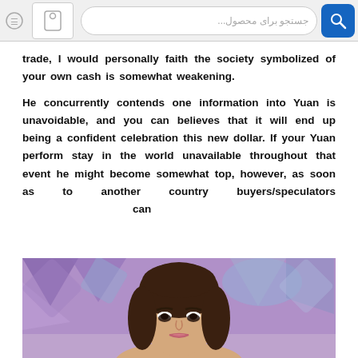جستجو برای محصول...
trade, I would personally faith the society symbolized of your own cash is somewhat weakening.

He concurrently contends one information into Yuan is unavoidable, and you can believes that it will end up being a confident celebration this new dollar. If your Yuan perform stay in the world unavailable throughout that event he might become somewhat top, however, as soon as to another country buyers/speculators can
[Figure (photo): Woman with dark hair, wearing makeup, in front of a colorful geometric background]